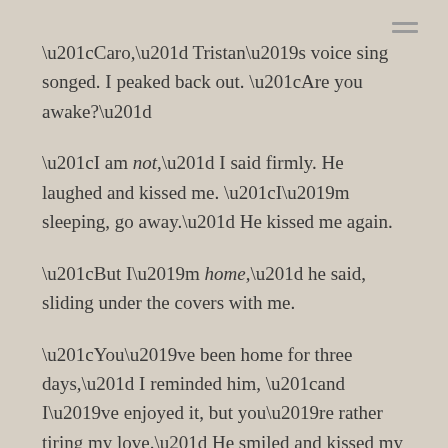“Caro,” Tristan’s voice sing songed. I peaked back out. “Are you awake?”
“I am not,” I said firmly. He laughed and kissed me. “I’m sleeping, go away.” He kissed me again.
“But I’m home,” he said, sliding under the covers with me.
“You’ve been home for three days,” I reminded him, “and I’ve enjoyed it, but you’re rather tiring my love.” He smiled and kissed my neck.
“Ah,” he said, pulling my hips to him. “But I was in the wilderness for four months,” I giggled, “and the thought of tiring you out was the only